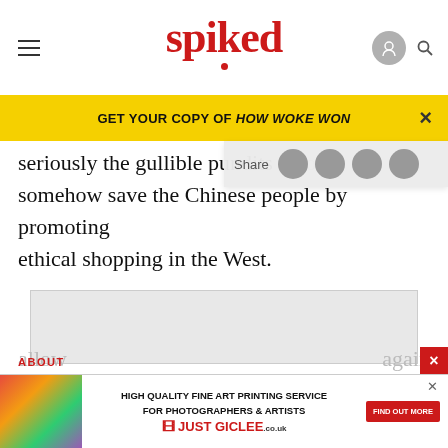spiked
GET YOUR COPY OF HOW WOKE WON
seriously the gullible pundits w somehow save the Chinese people by promoting ethical shopping in the West.
[Figure (other): Advertisement placeholder (grey box)]
Actually, both Chinese and Western workers could do with higher wages – but only the naive would allow
again
ABOUT
[Figure (other): HIGH QUALITY FINE ART PRINTING SERVICE FOR PHOTOGRAPHERS & ARTISTS JUST GICLEE.co.uk FIND OUT MORE advertisement banner]